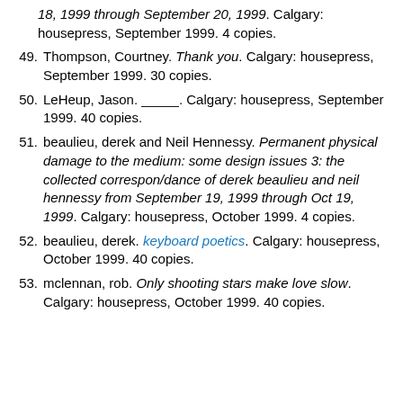(continuation) 18, 1999 through September 20, 1999. Calgary: housepress, September 1999. 4 copies.
49. Thompson, Courtney. Thank you. Calgary: housepress, September 1999. 30 copies.
50. LeHeup, Jason. _____. Calgary: housepress, September 1999. 40 copies.
51. beaulieu, derek and Neil Hennessy. Permanent physical damage to the medium: some design issues 3: the collected correspon/dance of derek beaulieu and neil hennessy from September 19, 1999 through Oct 19, 1999. Calgary: housepress, October 1999. 4 copies.
52. beaulieu, derek. keyboard poetics. Calgary: housepress, October 1999. 40 copies.
53. mclennan, rob. Only shooting stars make love slow. Calgary: housepress, October 1999. 40 copies.